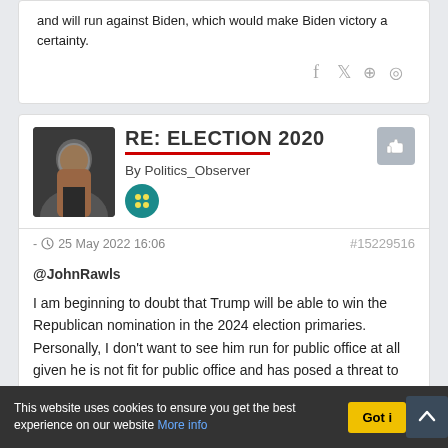and will run against Biden, which would make Biden victory a certainty.
RE: ELECTION 2020
By Politics_Observer
- 25 May 2022 16:06  #15229516
@JohnRawls
I am beginning to doubt that Trump will be able to win the Republican nomination in the 2024 election primaries. Personally, I don't want to see him run for public office at all given he is not fit for public office and has posed a threat to American democracy. If he does run in the 2024 Republican primaries in an attempt to be chosen as the nominee, I will v
This website uses cookies to ensure you get the best experience on our website More info